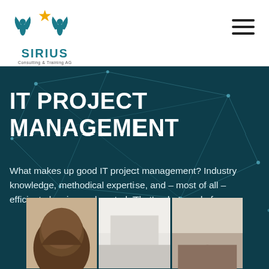[Figure (logo): Sirius Consulting & Training AG logo with winged figures and gold star]
IT PROJECT MANAGEMENT
What makes up good IT project management? Industry knowledge, methodical expertise, and – most of all – efficient planning and control. That's what we do for you.
[Figure (photo): Three-panel photo strip showing people in professional setting]